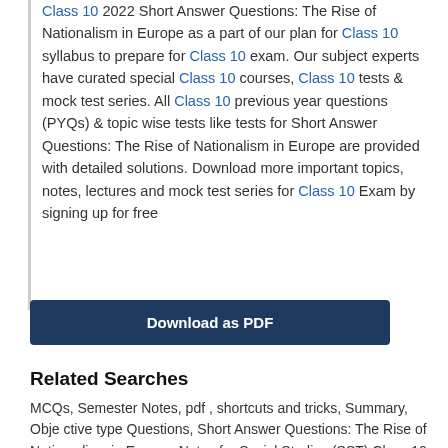Class 10 2022 Short Answer Questions: The Rise of Nationalism in Europe as a part of our plan for Class 10 syllabus to prepare for Class 10 exam. Our subject experts have curated special Class 10 courses, Class 10 tests & mock test series. All Class 10 previous year questions (PYQs) & topic wise tests like tests for Short Answer Questions: The Rise of Nationalism in Europe are provided with detailed solutions. Download more important topics, notes, lectures and mock test series for Class 10 Exam by signing up for free
Download as PDF
Related Searches
MCQs, Semester Notes, pdf , shortcuts and tricks, Summary, Objective type Questions, Short Answer Questions: The Rise of Nationalism in Europe, Notes for Social Studies (SST) Class 10, Cl